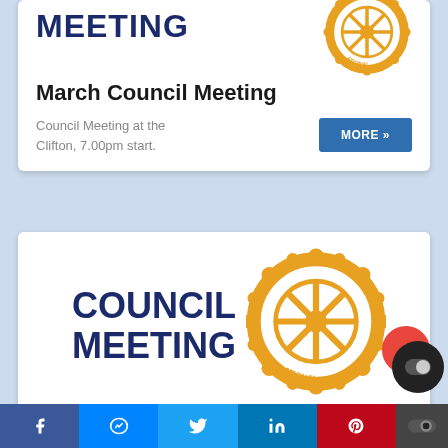[Figure (logo): Rotary International gear logo (gold/orange) partially visible at top, with COUNCIL MEETING text in dark navy]
March Council Meeting
Council Meeting at the Clifton, 7.00pm start.
[Figure (illustration): COUNCIL MEETING text in dark navy bold on left; Rotary International gear/wheel logo in gold/orange on right]
Council Meeting
February's Council Meeting at
f  [messenger]  [twitter]  in  p  [toggle]